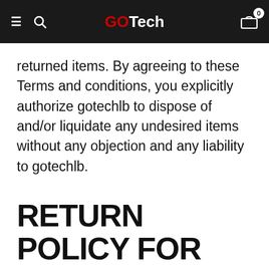GOTech
returned items. By agreeing to these Terms and conditions, you explicitly authorize gotechlb to dispose of and/or liquidate any undesired items without any objection and any liability to gotechlb.
RETURN POLICY FOR REPEATED RETURNS